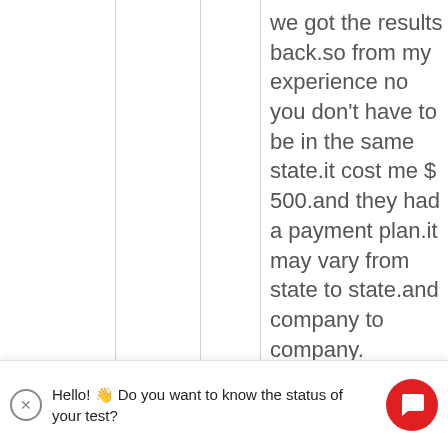we got the results back.so from my experience no you don't have to be in the same state.it cost me $ 500.and they had a payment plan.it may vary from state to state.and company to company.
Hello! 👋 Do you want to know the status of your test?